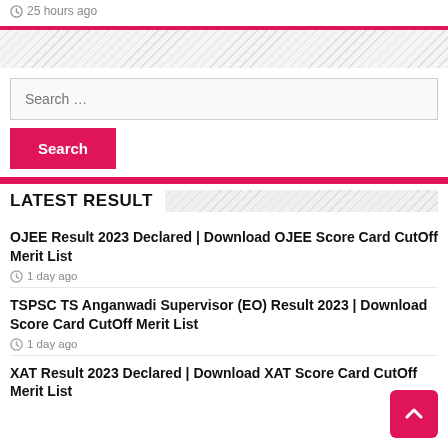25 hours ago
Search …
Search
LATEST RESULT
OJEE Result 2023 Declared | Download OJEE Score Card CutOff Merit List
1 day ago
TSPSC TS Anganwadi Supervisor (EO) Result 2023 | Download Score Card CutOff Merit List
1 day ago
XAT Result 2023 Declared | Download XAT Score Card CutOff Merit List